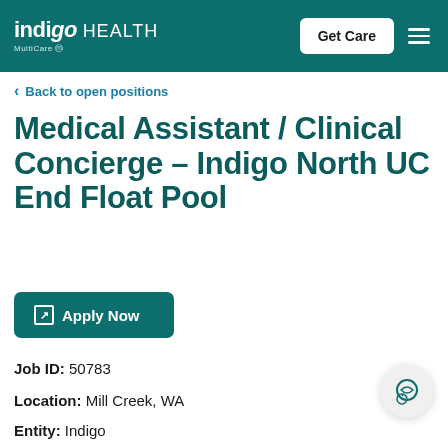[Figure (logo): Indigo Health by MultiCare logo on teal header with Get Care button and hamburger menu]
Back to open positions
Medical Assistant / Clinical Concierge – Indigo North UC End Float Pool
Apply Now
Job ID: 50783
Location: Mill Creek, WA
Entity: Indigo
Category: Medical Assistant